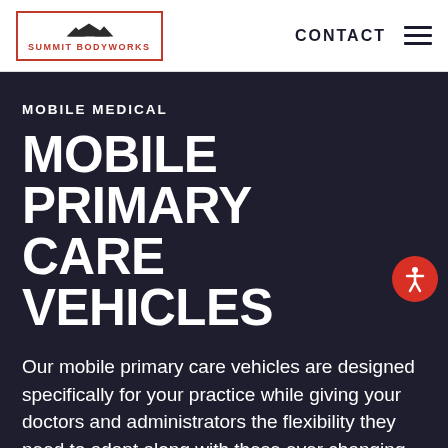SUMMIT BODYWORKS | CONTACT
MOBILE MEDICAL
MOBILE PRIMARY CARE VEHICLES
Our mobile primary care vehicles are designed specifically for your practice while giving your doctors and administrators the flexibility they need to adapt along with these ever changing times and beyond.